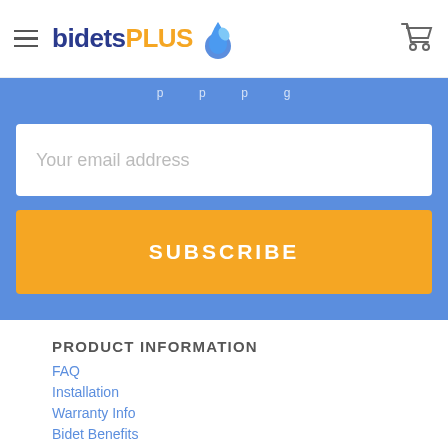bidetsPLUS
Your email address
SUBSCRIBE
PRODUCT INFORMATION
FAQ
Installation
Warranty Info
Bidet Benefits
Product Reviews
Infographic